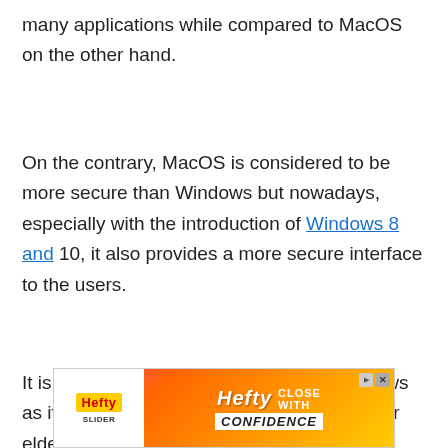many applications while compared to MacOS on the other hand.
On the contrary, MacOS is considered to be more secure than Windows but nowadays, especially with the introduction of Windows 8 and 10, it also provides a more secure interface to the users.
It is recommended to users to go for Windows as it is more efficient for day-to-day works for elders as well as children like reading documents and writing along with its user-friendly nature, huge
[Figure (other): Hefty Slider advertisement banner with pink/orange/yellow gradient background, Hefty logo on left, and 'Hefty CLOSE WITH CONFIDENCE' text on right]